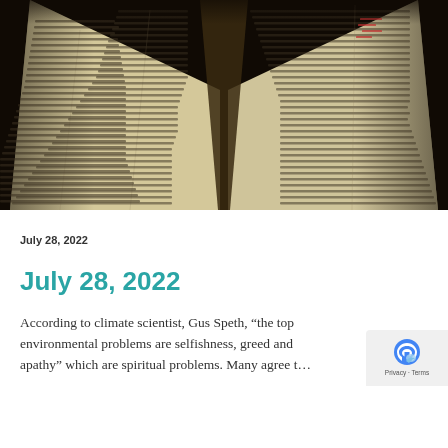[Figure (photo): An open book photographed from above at an angle, showing yellowed pages with dense handwritten or printed text, spine visible in the center, dark background, warm sepia tones.]
July 28, 2022
July 28, 2022
According to climate scientist, Gus Speth, "the top environmental problems are selfishness, greed and apathy" which are spiritual problems. Many agree t...